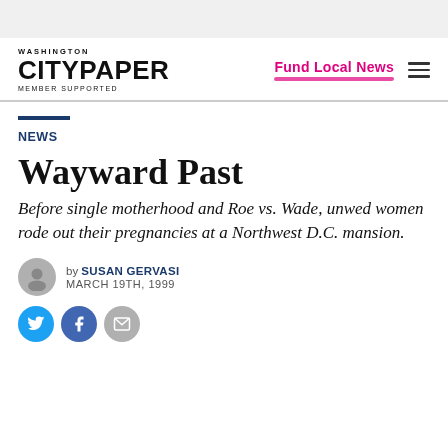Washington City Paper — MEMBER SUPPORTED
NEWS
Wayward Past
Before single motherhood and Roe vs. Wade, unwed women rode out their pregnancies at a Northwest D.C. mansion.
by SUSAN GERVASI
MARCH 19TH, 1999